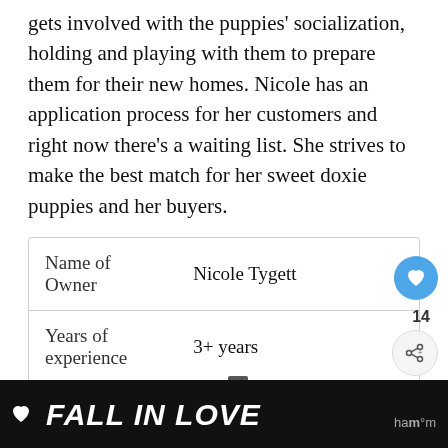gets involved with the puppies' socialization, holding and playing with them to prepare them for their new homes. Nicole has an application process for her customers and right now there's a waiting list. She strives to make the best match for her sweet doxie puppies and her buyers.
|  |  |
| --- | --- |
| Name of Owner | Nicole Tygett |
| Years of experience | 3+ years |
| Address | Jonesboro, IL 62952, USA |